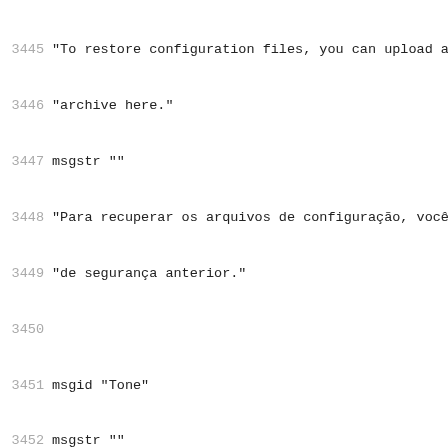3445  "To restore configuration files, you can upload a previ
3446  "archive here."
3447  msgstr ""
3448  "Para recuperar os arquivos de configuração, você pode
3449  "de segurança anterior."
3450
3451  msgid "Tone"
3452  msgstr ""
3453
3454  msgid "Total Available"
3455  msgstr "Total Disponivel"
3456
3457  msgid "Traceroute"
3458  msgstr "Traceroute"
3459
3460  msgid "Traffic"
3461  msgstr "Tráfego"
3462
3463  msgid "Transfer"
3464  msgstr "Transferências"
3465
3466  msgid "Transmission Rate"
3467  msgstr "Taxa de Transmissão"
3468
3469  msgid "Transmit"
3470  msgstr "Transmitir"
3471
3472  msgid "Transmit Power"
3473  msgstr "Potência de Transmissão"
3474
3475  msgid "Transmitter Antenna"
3476  msgstr "Antena de Transmissão"
3477